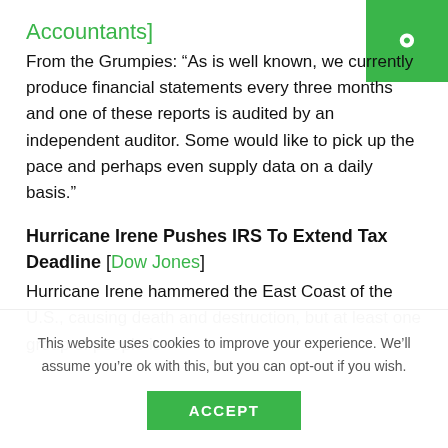Accountants]
From the Grumpies: “As is well known, we currently produce financial statements every three months and one of these reports is audited by an independent auditor. Some would like to pick up the pace and perhaps even supply data on a daily basis.”
Hurricane Irene Pushes IRS To Extend Tax Deadline [Dow Jones]
Hurricane Irene hammered the East Coast of the U.S., causing death and destruction, but at least one group of people is
This website uses cookies to improve your experience. We’ll assume you’re ok with this, but you can opt-out if you wish.
ACCEPT